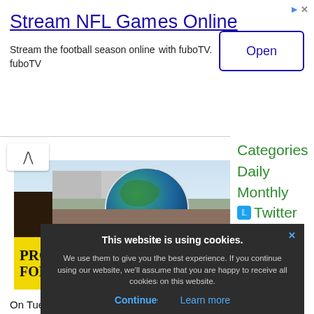[Figure (infographic): Advertisement banner for fuboTV - Stream NFL Games Online]
Stream NFL Games Online
Stream the football season online with fuboTV. fuboTV
[Figure (photo): Outdoor rally photo showing a large inflatable globe Earth, people in a crowd, and a yellow banner reading PROCESSION FOR THE FUTU(RE)]
Categories
Daily
Monthly
Twitter
Fun
Search
About
On Tuesday, a group called The Backbone Ca... contract sponsored a pa... t
This website is using cookies. We use them to give you the best experience. If you continue using our website, we'll assume that you are happy to receive all cookies on this website.